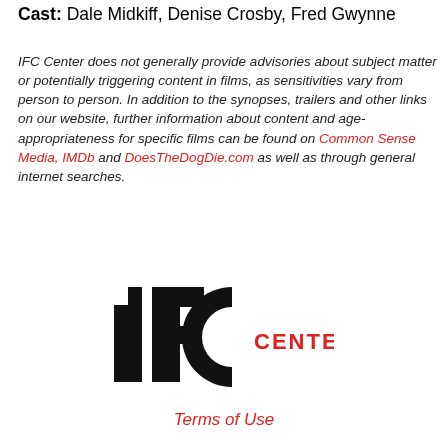Cast: Dale Midkiff, Denise Crosby, Fred Gwynne
IFC Center does not generally provide advisories about subject matter or potentially triggering content in films, as sensitivities vary from person to person. In addition to the synopses, trailers and other links on our website, further information about content and age-appropriateness for specific films can be found on Common Sense Media, IMDb and DoesTheDogDie.com as well as through general internet searches.
[Figure (logo): IFC Center logo — bold black letters IFC with a large C and red text CENTER]
Terms of Use